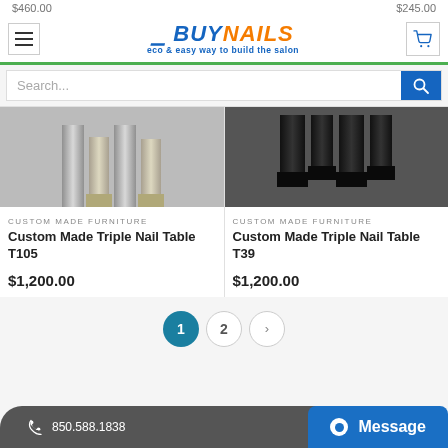$460.00   $245.00
[Figure (logo): eBuyNails logo with tagline: eco & easy way to build the salon]
Search...
[Figure (photo): Custom Made Triple Nail Table T105 - silver and beige legs on grey background]
CUSTOM MADE FURNITURE
Custom Made Triple Nail Table T105
$1,200.00
[Figure (photo): Custom Made Triple Nail Table T39 - black legs on dark background]
CUSTOM MADE FURNITURE
Custom Made Triple Nail Table T39
$1,200.00
1  2  >    850.588.1838   Message